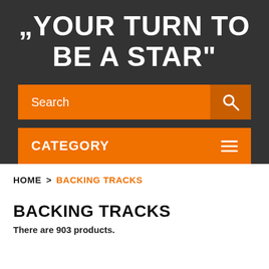"YOUR TURN TO BE A STAR"
[Figure (screenshot): Orange search bar with search icon on dark background]
[Figure (screenshot): Orange category bar with hamburger menu icon on dark background]
HOME > BACKING TRACKS
BACKING TRACKS
There are 903 products.